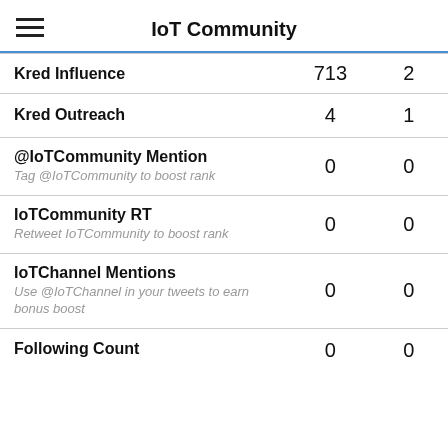IoT Community
| Metric | Value1 | Value2 |
| --- | --- | --- |
| Kred Influence | 713 | 2 |
| Kred Outreach | 4 | 1 |
| @IoTCommunity Mention
Tag @IoTCommunity to boost rank | 0 | 0 |
| IoTCommunity RT
Retweet IoTCommunity to boost rank | 0 | 0 |
| IoTChannel Mentions
Use @IoTChannel in your tweets to earn bonus boost | 0 | 0 |
| Following Count | 0 | 0 |